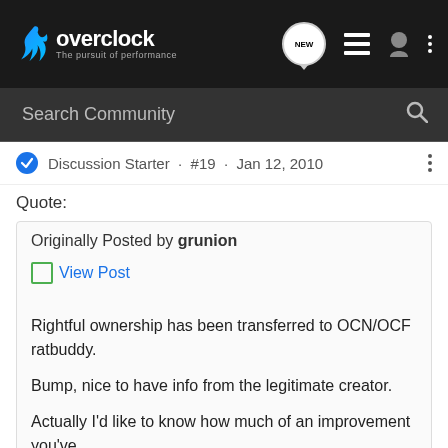[Figure (logo): Overclock.net logo — flame icon with 'overclock' text and tagline 'The pursuit of performance' on dark background, with navigation icons (NEW chat badge, list icon, user icon, three-dot menu)]
Search Community
Discussion Starter · #19 · Jan 12, 2010
Quote:
Originally Posted by grunion
View Post
Rightful ownership has been transferred to OCN/OCF ratbuddy.
Bump, nice to have info from the legitimate creator.
Actually I'd like to know how much of an improvement you've